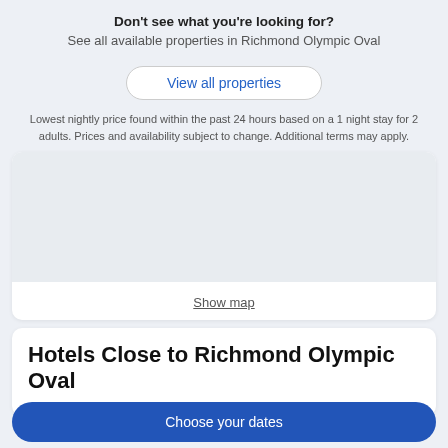Don't see what you're looking for?
See all available properties in Richmond Olympic Oval
View all properties
Lowest nightly price found within the past 24 hours based on a 1 night stay for 2 adults. Prices and availability subject to change. Additional terms may apply.
[Figure (map): A blank map placeholder area with a 'Show map' link at the bottom]
Hotels Close to Richmond Olympic Oval
Choose your dates